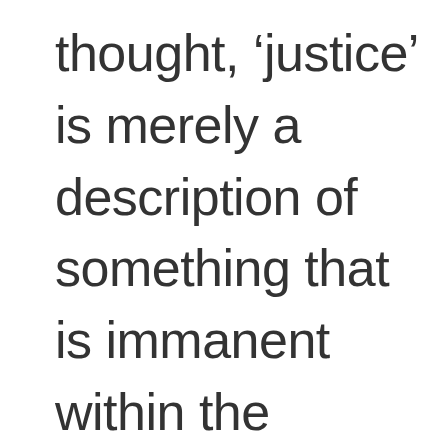thought, ‘justice’ is merely a description of something that is immanent within the individual. In fact. Stirner uses